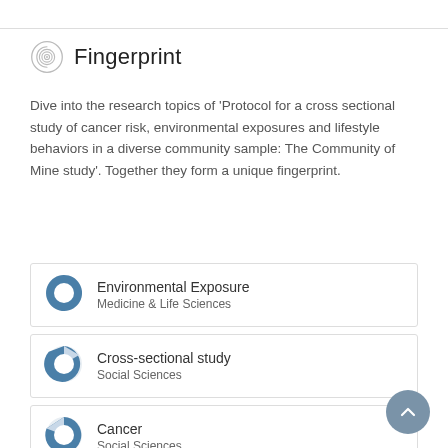Fingerprint
Dive into the research topics of 'Protocol for a cross sectional study of cancer risk, environmental exposures and lifestyle behaviors in a diverse community sample: The Community of Mine study'. Together they form a unique fingerprint.
[Figure (donut-chart): Donut chart icon nearly fully filled in blue for Environmental Exposure]
Environmental Exposure
Medicine & Life Sciences
[Figure (donut-chart): Donut chart icon mostly filled in blue for Cross-sectional study]
Cross-sectional study
Social Sciences
[Figure (donut-chart): Donut chart icon mostly filled in blue for Cancer]
Cancer
Social Sciences